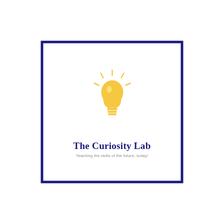[Figure (logo): The Curiosity Lab logo: a yellow lightbulb with rays inside a dark navy blue square border, with text 'The Curiosity Lab' and tagline 'Teaching the skills of the future, today!']